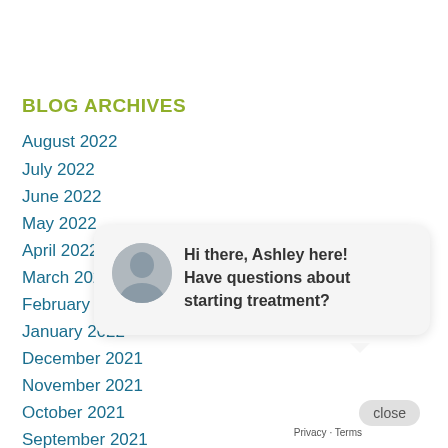BLOG ARCHIVES
August 2022
July 2022
June 2022
May 2022
April 2022
March 2022
February 2022
January 2022
December 2021
November 2021
October 2021
September 2021
[Figure (screenshot): Chat widget with close button, avatar of Ashley, and message: Hi there, Ashley here! Have questions about starting treatment?]
Privacy · Terms